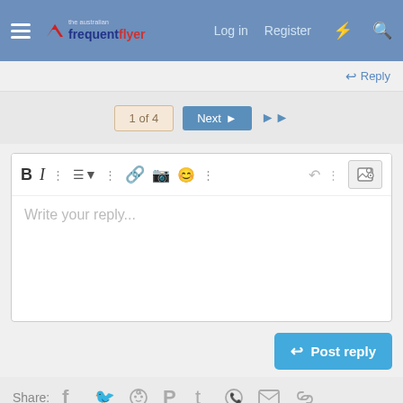[Figure (screenshot): Navigation bar with hamburger menu, Australian Frequent Flyer logo, Log in, Register, and icon links]
↩ Reply
1 of 4  Next ▶  ▶▶
[Figure (screenshot): Text editor toolbar with Bold, Italic, list, link, image, emoji and other formatting icons]
Write your reply...
Post reply
Share:
[Figure (screenshot): Social share icons: Facebook, Twitter, Reddit, Pinterest, Tumblr, WhatsApp, Email, Link]
[Figure (advertisement): Hertz advertisement: Get 1 free rental day.* Hertz. Let's Go! Book Now. Terms apply.]